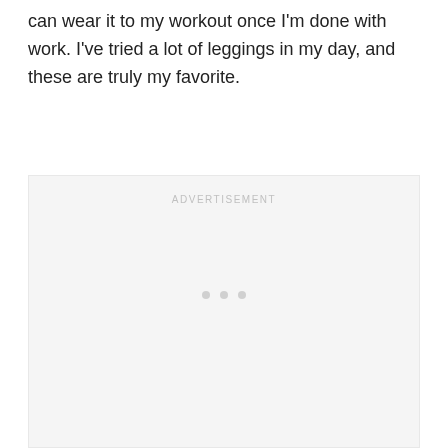can wear it to my workout once I'm done with work. I've tried a lot of leggings in my day, and these are truly my favorite.
[Figure (other): Advertisement placeholder box with 'ADVERTISEMENT' label at top and three dots in the center-lower area, light gray background.]